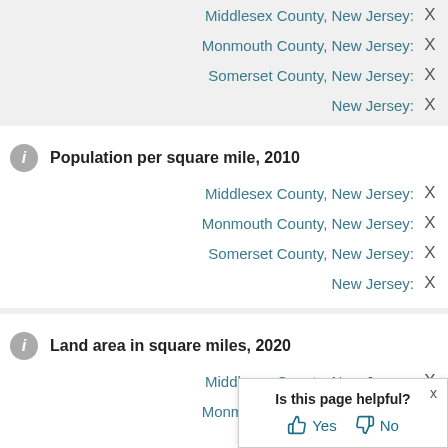Middlesex County, New Jersey: X
Monmouth County, New Jersey: X
Somerset County, New Jersey: X
New Jersey: X
Population per square mile, 2010
Middlesex County, New Jersey: X
Monmouth County, New Jersey: X
Somerset County, New Jersey: X
New Jersey: X
Land area in square miles, 2020
Middlesex County, New Jersey: X
Monmouth County, New Jersey: X
Somerset County, New Jersey: X
Is this page helpful? Yes No